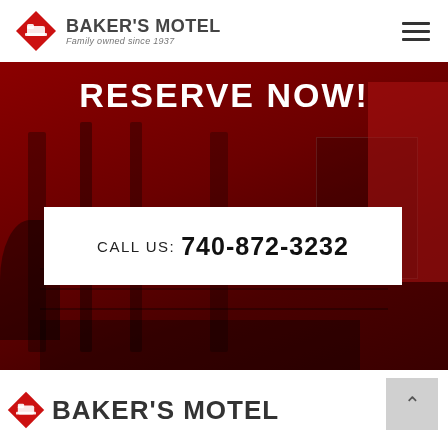Baker's Motel — Family owned since 1937
RESERVE NOW!
CALL US: 740-872-3232
[Figure (photo): Baker's Motel building exterior with red tinted overlay, showing porch columns, windows, and outdoor seating]
BAKER'S MOTEL